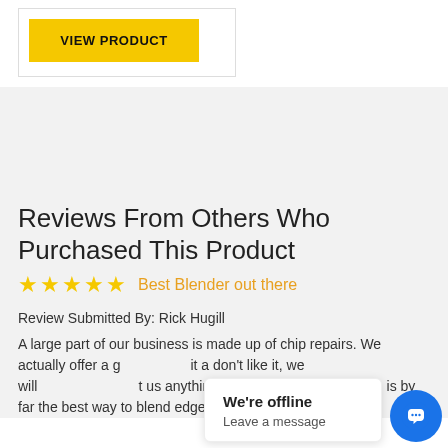[Figure (other): Yellow 'VIEW PRODUCT' button inside a card with light border]
Reviews From Others Who Purchased This Product
[Figure (other): Five gold stars rating with orange text 'Best Blender out there']
Review Submitted By: Rick Hugill
A large part of our business is made up of chip repairs. We actually offer a g... it a don't like it, we will ... t us anything!. This bl... mle is by far the best way to blend edges of repairs so it
[Figure (other): Chat widget popup showing 'We're offline' and 'Leave a message' with blue chat button icon]